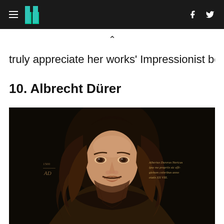HuffPost navigation with logo, hamburger menu, Facebook and Twitter icons
truly appreciate her works Impressionist beauty.
10. Albrecht Dürer
[Figure (photo): Self-portrait painting of Albrecht Dürer, showing a man with long curly brown hair and a beard, facing forward, against a dark background. Contains Latin inscription on the right and monogram on the left, dated 1500.]